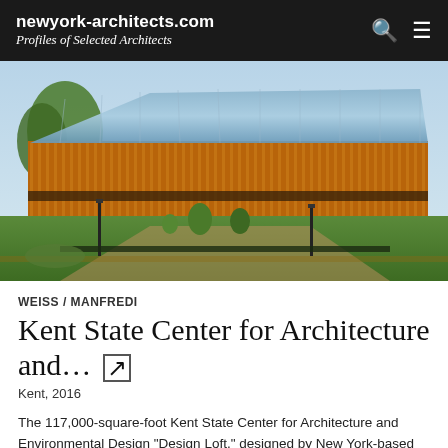newyork-architects.com
Profiles of Selected Architects
[Figure (photo): Exterior photograph of the Kent State Center for Architecture and Environmental Design building, featuring a modern structure with warm terracotta/wood vertical fins on the lower levels and extensive glass curtain walls on the upper levels, surrounded by green lawns and pathways.]
WEISS / MANFREDI
Kent State Center for Architecture and...
Kent, 2016
The 117,000-square-foot Kent State Center for Architecture and Environmental Design "Design Loft," designed by New York-based firm WEISS/...